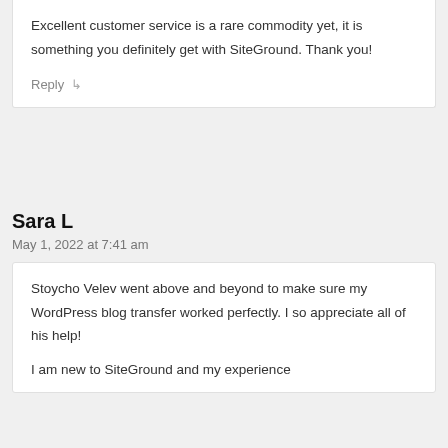Excellent customer service is a rare commodity yet, it is something you definitely get with SiteGround. Thank you!
Reply
Sara L
May 1, 2022 at 7:41 am
Stoycho Velev went above and beyond to make sure my WordPress blog transfer worked perfectly. I so appreciate all of his help!
I am new to SiteGround and my experience